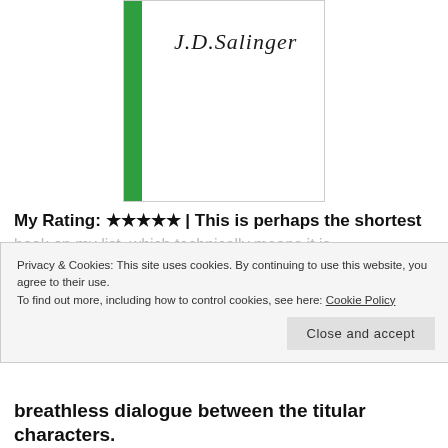[Figure (illustration): Book cover with a green vertical bar on the left and the author name J.D. Salinger written in italic/script font on white background]
My Rating: ★★★★★ | This is perhaps the shortest
Privacy & Cookies: This site uses cookies. By continuing to use this website, you agree to their use.
To find out more, including how to control cookies, see here: Cookie Policy
Close and accept
breathless dialogue between the titular characters.